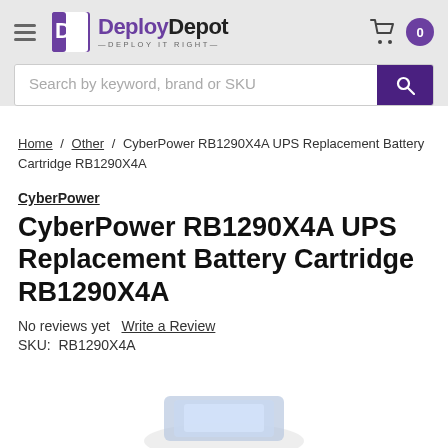DeployDepot — DEPLOY IT RIGHT
Search by keyword, brand or SKU
Home / Other / CyberPower RB1290X4A UPS Replacement Battery Cartridge RB1290X4A
CyberPower
CyberPower RB1290X4A UPS Replacement Battery Cartridge RB1290X4A
No reviews yet   Write a Review
SKU:  RB1290X4A
[Figure (photo): Partial view of CyberPower battery cartridge product image at bottom of page]